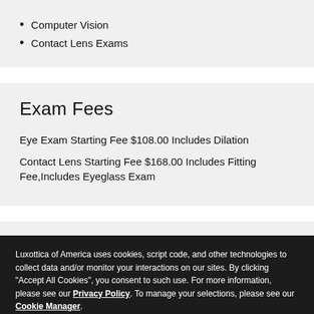Computer Vision
Contact Lens Exams
Exam Fees
Eye Exam Starting Fee $108.00 Includes Dilation
Contact Lens Starting Fee $168.00 Includes Fitting Fee,Includes Eyeglass Exam
Luxottica of America uses cookies, script code, and other technologies to collect data and/or monitor your interactions on our sites. By clicking "Accept All Cookies", you consent to such use. For more information, please see our Privacy Policy. To manage your selections, please see our Cookie Manager.
ACCEPT ALL COOKIES